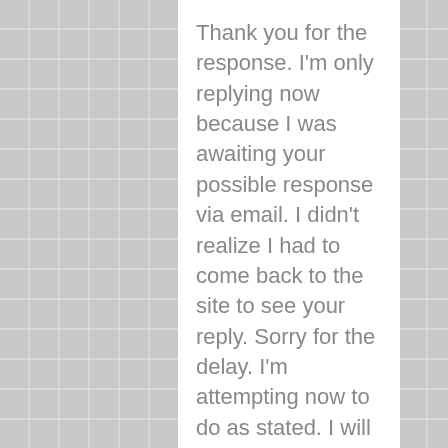Thank you for the response. I'm only replying now because I was awaiting your possible response via email. I didn't realize I had to come back to the site to see your reply. Sorry for the delay. I'm attempting now to do as stated. I will